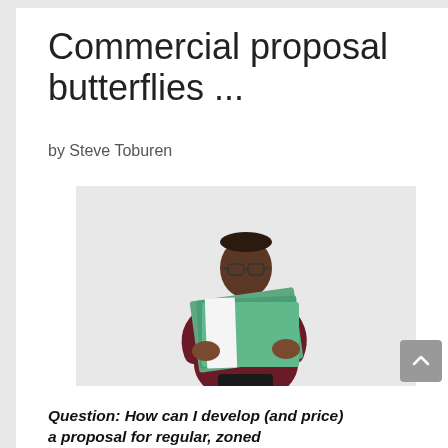Commercial proposal butterflies ...
by Steve Toburen
[Figure (photo): A young man wearing glasses and a dark red shirt, holding several green folders/binders, looking upward with a thoughtful expression. Background is light gray/white.]
Question: How can I develop (and price) a proposal for regular, zoned